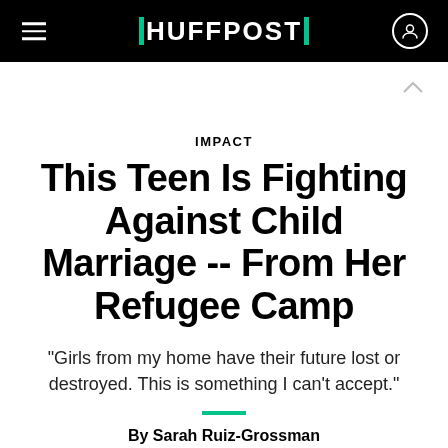HUFFPOST
IMPACT
This Teen Is Fighting Against Child Marriage -- From Her Refugee Camp
“Girls from my home have their future lost or destroyed. This is something I can’t accept.”
By Sarah Ruiz-Grossman
Apr 21, 2016, 04:36 PM EDT